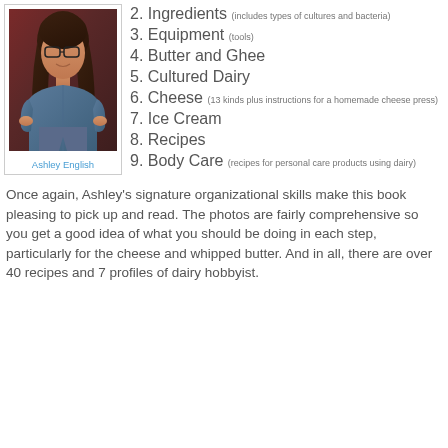[Figure (photo): Photo of Ashley English, a woman with long brown hair and glasses, wearing a blue denim shirt, standing with hands on hips against a dark red background.]
Ashley English
2. Ingredients (includes types of cultures and bacteria)
3. Equipment (tools)
4. Butter and Ghee
5. Cultured Dairy
6. Cheese (13 kinds plus instructions for a homemade cheese press)
7. Ice Cream
8. Recipes
9. Body Care (recipes for personal care products using dairy)
Once again, Ashley’s signature organizational skills make this book pleasing to pick up and read. The photos are fairly comprehensive so you get a good idea of what you should be doing in each step, particularly for the cheese and whipped butter. And in all, there are over 40 recipes and 7 profiles of dairy hobbyist.